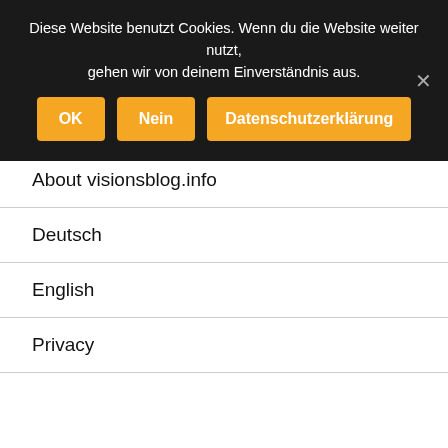Research and Development
Travel Reports
Trends
About visionsblog.info
Deutsch
English
Privacy
Diese Website benutzt Cookies. Wenn du die Website weiter nutzt, gehen wir von deinem Einverständnis aus.
OK | Nein | Datenschutzerklärung